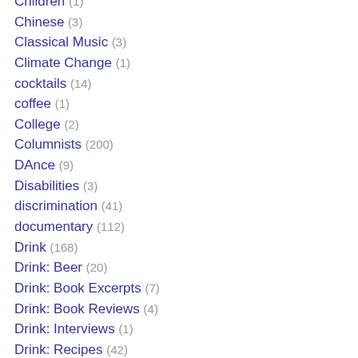Children (1)
Chinese (3)
Classical Music (3)
Climate Change (1)
cocktails (14)
coffee (1)
College (2)
Columnists (200)
DAnce (9)
Disabilities (3)
discrimination (41)
documentary (112)
Drink (168)
Drink: Beer (20)
Drink: Book Excerpts (7)
Drink: Book Reviews (4)
Drink: Interviews (1)
Drink: Recipes (42)
Drink: Wine (14)
Drinks: Cocktails and Other Alcoholic (51)